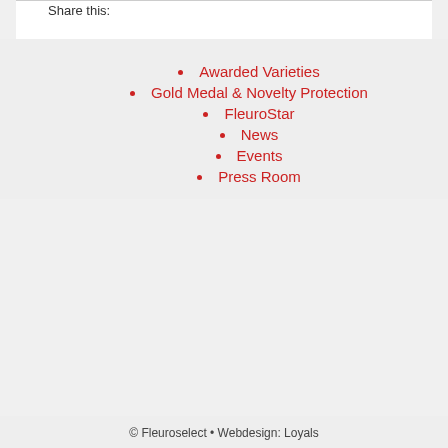Share this:
Awarded Varieties
Gold Medal & Novelty Protection
FleuroStar
News
Events
Press Room
© Fleuroselect • Webdesign: Loyals